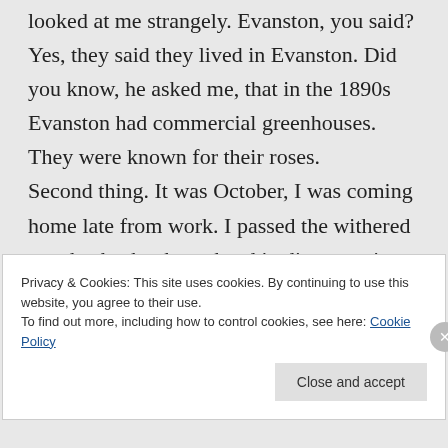looked at me strangely. Evanston, you said? Yes, they said they lived in Evanston. Did you know, he asked me, that in the 1890s Evanston had commercial greenhouses. They were known for their roses.
Second thing. It was October, I was coming home late from work. I passed the withered rose bush, shook my head in disgust at its
Privacy & Cookies: This site uses cookies. By continuing to use this website, you agree to their use.
To find out more, including how to control cookies, see here: Cookie Policy